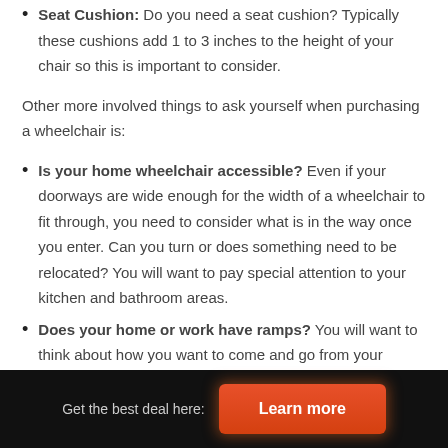Seat Cushion: Do you need a seat cushion? Typically these cushions add 1 to 3 inches to the height of your chair so this is important to consider.
Other more involved things to ask yourself when purchasing a wheelchair is:
Is your home wheelchair accessible? Even if your doorways are wide enough for the width of a wheelchair to fit through, you need to consider what is in the way once you enter. Can you turn or does something need to be relocated? You will want to pay special attention to your kitchen and bathroom areas.
Does your home or work have ramps? You will want to think about how you want to come and go from your home.
Get the best deal here: Learn more